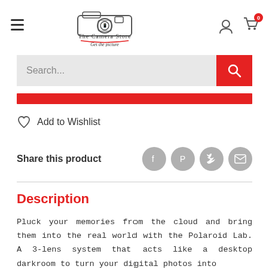[Figure (logo): The Camera Store logo with camera illustration, text 'The Camera Store' and tagline 'Get the picture']
Search...
Add to Wishlist
Share this product
Description
Pluck your memories from the cloud and bring them into the real world with the Polaroid Lab. A 3-lens system that acts like a desktop darkroom to turn your digital photos into